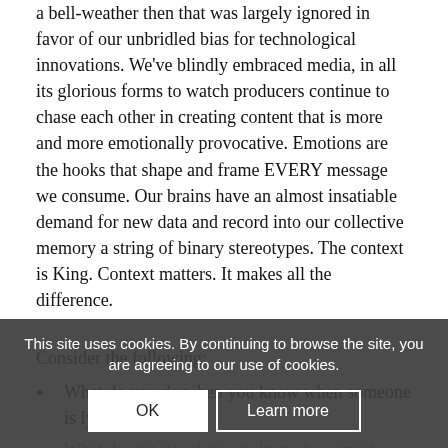a bell-weather then that was largely ignored in favor of our unbridled bias for technological innovations. We've blindly embraced media, in all its glorious forms to watch producers continue to chase each other in creating content that is more and more emotionally provocative. Emotions are the hooks that shape and frame EVERY message we consume. Our brains have an almost insatiable demand for new data and record into our collective memory a string of binary stereotypes. The context is King. Context matters. It makes all the difference.
Consider the following:
What do you do when you know when someone is lying?
What do you do when you know how much money each
Do you still choose to interact if you know a person has a life-threatening
Do you still shake a person's hand if you know they've
This site uses cookies. By continuing to browse the site, you are agreeing to our use of cookies.